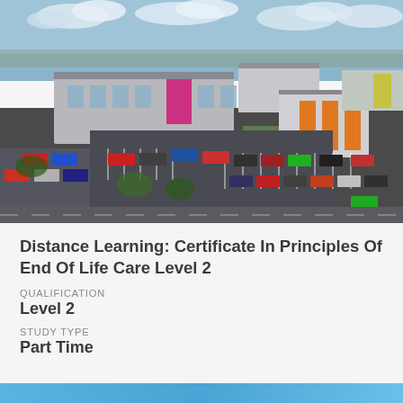[Figure (photo): Aerial drone photograph of a modern college or educational campus with multiple buildings, large car park filled with cars, roads, and surrounding urban/industrial area under partly cloudy skies.]
Distance Learning: Certificate In Principles Of End Of Life Care Level 2
QUALIFICATION
Level 2
STUDY TYPE
Part Time